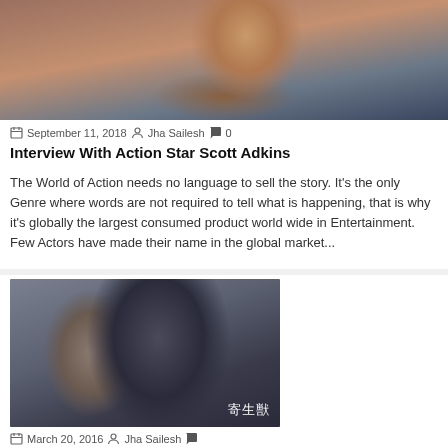[Figure (photo): Shirtless muscular man with tattoos and beard, dark dramatic lighting]
September 11, 2018  Jha Sailesh  0
Interview With Action Star Scott Adkins
The World of Action needs no language to sell the story. It's the only Genre where words are not required to tell what is happening, that is why it's globally the largest consumed product world wide in Entertainment. Few Actors have made their name in the global market...
[Figure (photo): Two people in dark formal clothing in close proximity, Japanese text 寄生獣 overlay]
March 20, 2016  Jha Sailesh
1